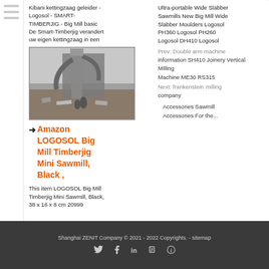Kibani kettingzaag geleider - Logosol - SMART-TIMBERJIG - Big Mill basic De Smart-Timberjig verandert uw eigen kettingzaag in een
[Figure (photo): Industrial machinery or mill equipment on a construction/demolition site, with workers visible]
Amazon LOGOSOL Big Mill Timberjig Mini Sawmill, Black ,
This item LOGOSOL Big Mill Timberjig Mini Sawmill, Black, 38 x 16 x 8 cm 20999
Ultra-portable Wide Slabber Sawmills New Big Mill Wide Slabber Moulders Logosol PH360 Logosol PH260 Logosol DH410 Logosol
Prev: Double arm machine information SH410 Joinery Vertical Milling Machine ME30 RS315
Next: frankenstein milling company
Accessories Sawmill
Accessories For the...
Shanghai ZENIT Company © 2021 - 2022 Copyrights. - sitemap